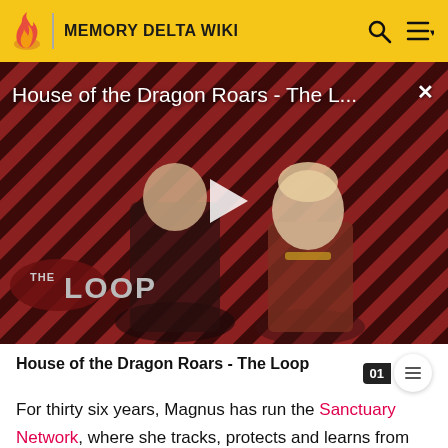MEMORY DELTA WIKI
[Figure (screenshot): Video thumbnail for 'House of the Dragon Roars - The Loop' showing two characters from House of the Dragon against a diagonal stripe background, with a play button overlay and THE LOOP badge in the lower left.]
House of the Dragon Roars - The Loop
For thirty six years, Magnus has run the Sanctuary Network, where she tracks, protects and learns from the extraordinary abnormals and/or paranormal creatures,